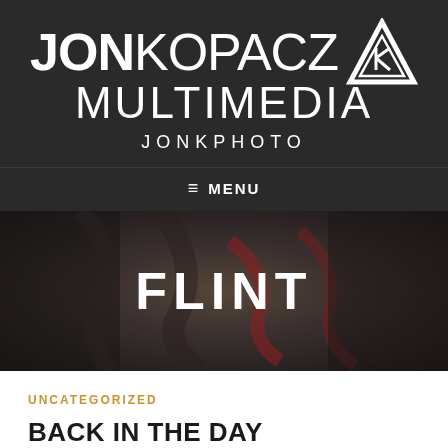[Figure (logo): Jon Kopacz Multimedia logo with white text and triangle icon on dark background, subtitle JONKPHOTO]
≡ MENU
[Figure (photo): Dark moody photo of a person pulling open a jacket/shirt revealing something underneath, with the word FLINT overlaid in bold white text]
UNCATEGORIZED
BACK IN THE DAY
DECEMBER 30, 2012   JONKPHOTO
LEAVE A COMMENT